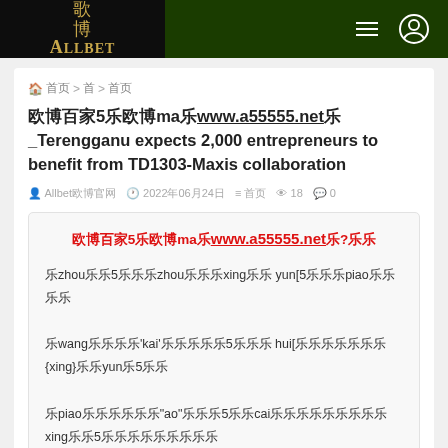欧博ALLBET navigation header
🏠 首页 > 首 > 首页
欧博百家5乐欧博ma乐www.a55555.net乐_Terengganu expects 2,000 entrepreneurs to benefit from TD1303-Maxis collaboration
Allbet欧博官网  2022年06月24日  首页  18  0
欧博百家5乐欧博ma乐www.a55555.net乐?乐乐 乐zhou乐乐5乐乐乐zhou乐乐乐xing乐乐 yun[5乐乐乐piao乐乐乐乐 乐wang乐乐乐乐'kai'乐乐乐乐乐5乐乐乐 hui[乐乐乐乐乐乐乐{xing}乐乐yun乐5乐乐 乐piao乐乐乐乐乐乐"ao"乐乐乐5乐乐cai乐乐乐乐乐乐乐乐乐xing乐乐5乐乐乐乐乐乐乐乐乐 ping[乐 tai[乐